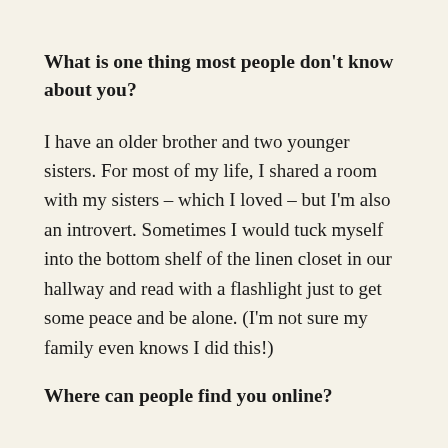What is one thing most people don't know about you?
I have an older brother and two younger sisters. For most of my life, I shared a room with my sisters – which I loved – but I'm also an introvert. Sometimes I would tuck myself into the bottom shelf of the linen closet in our hallway and read with a flashlight just to get some peace and be alone. (I'm not sure my family even knows I did this!)
Where can people find you online?